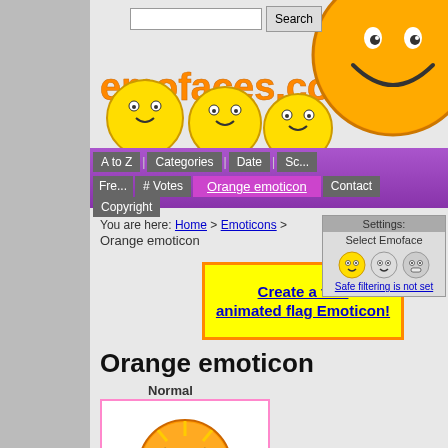[Figure (screenshot): emofaces.com website screenshot showing logo, navigation, breadcrumb, settings panel, promo box, and orange emoticon]
emofaces.com
A to Z | Categories | Date | Sc...
# Votes | Orange emoticon | Contact
Fre... | Copyright
You are here: Home > Emoticons > Orange emoticon
Settings: Select Emoface
Safe filtering is not set
Create a free animated flag Emoticon!
Orange emoticon
Normal
[Figure (illustration): Orange emoticon image - circular orange smiley face with angry expression and star-burst effect]